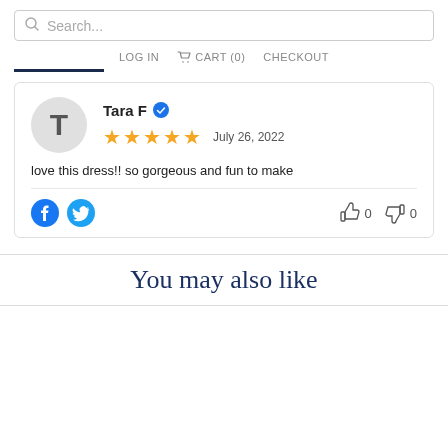Search...
LOG IN  CART (0)  CHECKOUT
Tara F  ✔
★★★★★  July 26, 2022
love this dress!! so gorgeous and fun to make
You may also like